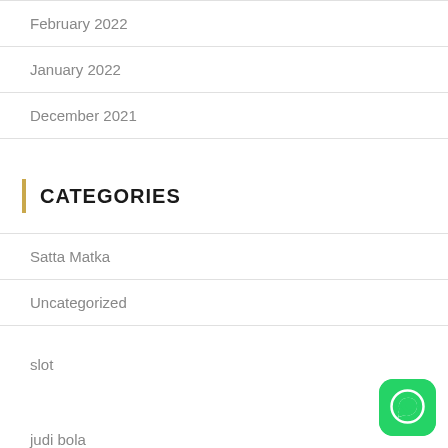February 2022
January 2022
December 2021
CATEGORIES
Satta Matka
Uncategorized
slot
judi bola
[Figure (logo): WhatsApp green rounded square button icon]